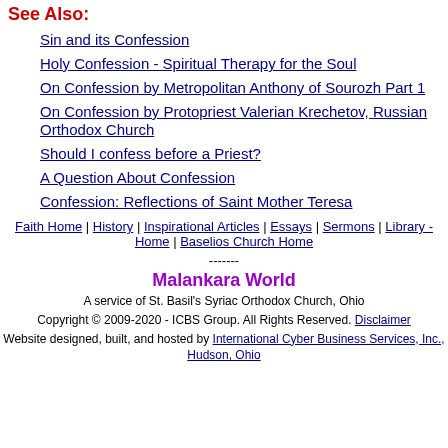See Also:
Sin and its Confession
Holy Confession - Spiritual Therapy for the Soul
On Confession by Metropolitan Anthony of Sourozh Part 1
On Confession by Protopriest Valerian Krechetov, Russian Orthodox Church
Should I confess before a Priest?
A Question About Confession
Confession: Reflections of Saint Mother Teresa
Faith Home | History | Inspirational Articles | Essays | Sermons | Library - Home | Baselios Church Home
-------
Malankara World
A service of St. Basil's Syriac Orthodox Church, Ohio
Copyright © 2009-2020 - ICBS Group. All Rights Reserved. Disclaimer
Website designed, built, and hosted by International Cyber Business Services, Inc., Hudson, Ohio